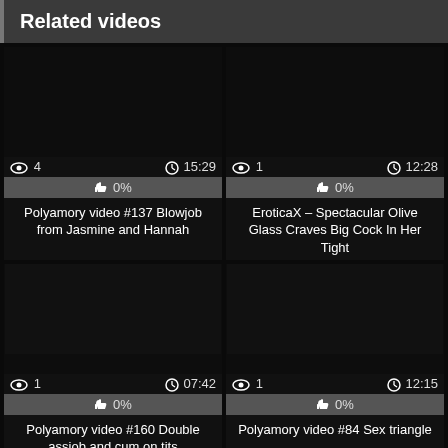Related videos
[Figure (screenshot): Video thumbnail dark/black for Polyamory video #137]
👁 4   🕐15:29
👍 0%
Polyamory video #137 Blowjob from Jasmine and Hannah
[Figure (screenshot): Video thumbnail dark/black for EroticaX – Spectacular Olive Glass]
👁 1   🕐12:28
👍 0%
EroticaX – Spectacular Olive Glass Craves Big Cock In Her Tight
[Figure (screenshot): Video thumbnail dark/black for Polyamory video #160]
👁 1   🕐07:42
👍 0%
Polyamory video #160 Double assjob and cum on tits
[Figure (screenshot): Video thumbnail dark/black for Polyamory video #84]
👁 1   🕐12:15
👍 0%
Polyamory video #84 Sex triangle